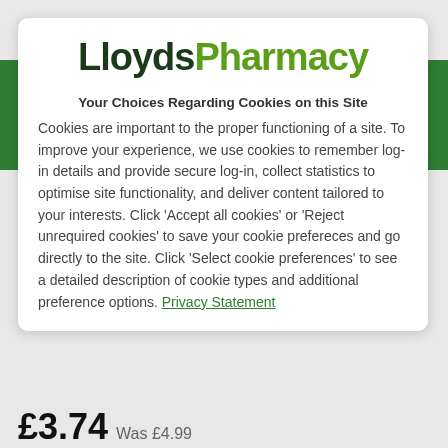[Figure (logo): LloydsPharmacy logo with 'Lloyds' in dark green bold and 'Pharmacy' in light green]
Your Choices Regarding Cookies on this Site
Cookies are important to the proper functioning of a site. To improve your experience, we use cookies to remember log-in details and provide secure log-in, collect statistics to optimise site functionality, and deliver content tailored to your interests. Click 'Accept all cookies' or 'Reject unrequired cookies' to save your cookie prefereces and go directly to the site. Click 'Select cookie preferences' to see a detailed description of cookie types and additional preference options. Privacy Statement
£3.74 Was £4.99